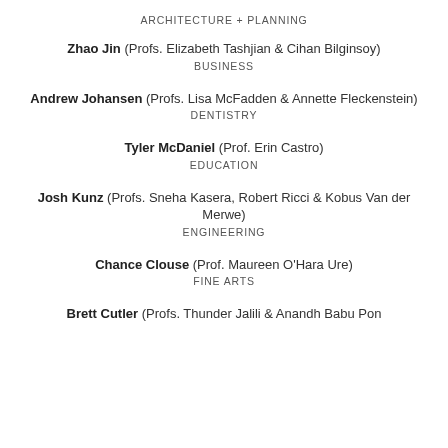ARCHITECTURE + PLANNING
Zhao Jin (Profs. Elizabeth Tashjian & Cihan Bilginsoy)
BUSINESS
Andrew Johansen (Profs. Lisa McFadden & Annette Fleckenstein)
DENTISTRY
Tyler McDaniel (Prof. Erin Castro)
EDUCATION
Josh Kunz (Profs. Sneha Kasera, Robert Ricci & Kobus Van der Merwe)
ENGINEERING
Chance Clouse (Prof. Maureen O'Hara Ure)
FINE ARTS
Brett Cutler (Profs. Thunder Jalili & Anandh Babu Pon